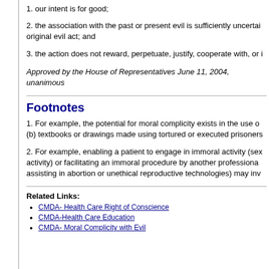1. our intent is for good;
2. the association with the past or present evil is sufficiently uncertain original evil act; and
3. the action does not reward, perpetuate, justify, cooperate with, or i
Approved by the House of Representatives June 11, 2004, unanimous
Footnotes
1. For example, the potential for moral complicity exists in the use o (b) textbooks or drawings made using tortured or executed prisoners
2. For example, enabling a patient to engage in immoral activity (sex activity) or facilitating an immoral procedure by another professiona assisting in abortion or unethical reproductive technologies) may inv
Related Links:
CMDA- Health Care Right of Conscience
CMDA-Health Care Education
CMDA- Moral Complicity with Evil